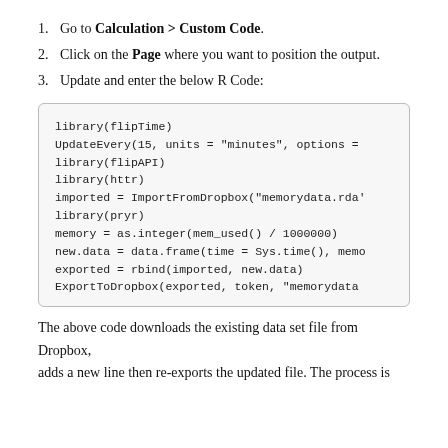Go to Calculation > Custom Code.
Click on the Page where you want to position the output.
Update and enter the below R Code:
library(flipTime)
UpdateEvery(15, units = "minutes", options =

library(flipAPI)
library(httr)
imported = ImportFromDropbox("memorydata.rda'

library(pryr)
memory = as.integer(mem_used() / 1000000)
new.data = data.frame(time = Sys.time(), memo

exported = rbind(imported, new.data)
ExportToDropbox(exported, token, "memorydata
The above code downloads the existing data set file from Dropbox, adds a new line then re-exports the updated file. The process is